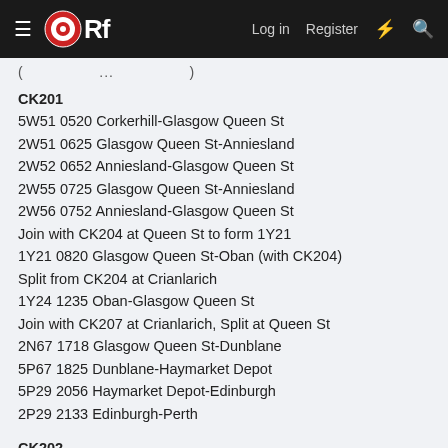≡ ORf  Log in  Register  ⚡ 🔍
( ... )
CK201
5W51 0520 Corkerhill-Glasgow Queen St
2W51 0625 Glasgow Queen St-Anniesland
2W52 0652 Anniesland-Glasgow Queen St
2W55 0725 Glasgow Queen St-Anniesland
2W56 0752 Anniesland-Glasgow Queen St
Join with CK204 at Queen St to form 1Y21
1Y21 0820 Glasgow Queen St-Oban (with CK204)
Split from CK204 at Crianlarich
1Y24 1235 Oban-Glasgow Queen St
Join with CK207 at Crianlarich, Split at Queen St
2N67 1718 Glasgow Queen St-Dunblane
5P67 1825 Dunblane-Haymarket Depot
5P29 2056 Haymarket Depot-Edinburgh
2P29 2133 Edinburgh-Perth
CK202
2N48 0656 Perth-Glasgow Queen St
5J85 1050 Glasgow Queen St-Eastfield HS
Join with CK205 at Eastfield...